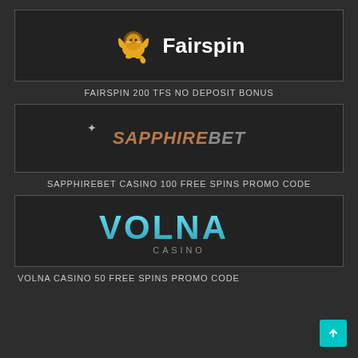[Figure (logo): Fairspin casino logo with golden winged lion mascot and bold white 'Fairspin' text on dark background]
FAIRSPIN 200 TFS NO DEPOSIT BONUS
[Figure (logo): SapphireBet casino logo in italic text with 'SAPPHIRE' in brown/copper and 'BET' in grey, with sparkle symbol]
SAPPHIREBET CASINO 100 FREE SPINS PROMO CODE
[Figure (logo): Volna Casino logo with 'VOLNA' in cyan/teal gradient large font and 'CASINO' in small grey spaced letters below]
VOLNA CASINO 50 FREE SPINS PROMO CODE